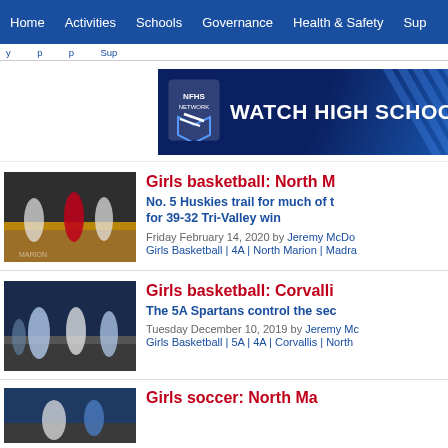Home | Activities | Schools | Governance | Health & Safety | Sup...
[Figure (screenshot): NFHS Network banner ad: dark blue background with diagonal stripe pattern, NFHS Network logo on left, text 'WATCH HIGH SCHOO...' in white bold on right]
[Figure (photo): Girls basketball game photo showing players on court, one player in red jersey dribbling]
Girls basketball: North M...
No. 5 Huskies trail for much of the game, rally for 39-32 Tri-Valley win
Friday February 14, 2020 by Jeremy McDo...
Girls Basketball | 4A | North Marion | Madra...
[Figure (photo): Girls basketball game photo showing players on indoor court with blue-uniformed players]
Girls basketball: Corvalli...
The 5A Spartans control the sec...
Tuesday December 10, 2019 by Jeremy Mc...
Girls Basketball | 5A | 4A | Corvallis | North...
[Figure (photo): Girls soccer or basketball game photo, partially visible at bottom]
Girls soccer: North Ma...